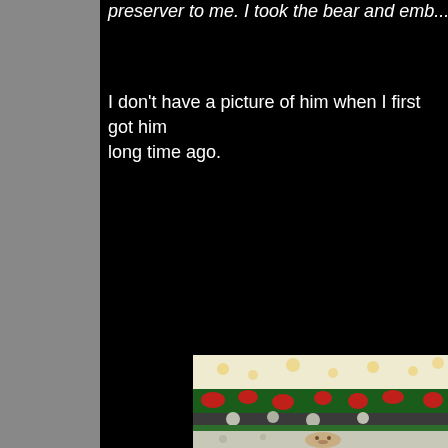preserver to me. I took the bear and emb...
I don't have a picture of him when I first got him long time ago.
[Figure (photo): Photo of stacked folded fabric/quilts with floral patterns in yellow, red, green, and white colors, partially showing what appears to be a stuffed bear underneath.]